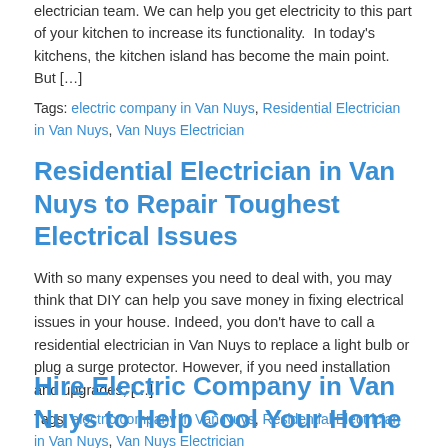electrician team. We can help you get electricity to this part of your kitchen to increase its functionality.  In today's kitchens, the kitchen island has become the main point. But […]
Tags: electric company in Van Nuys, Residential Electrician in Van Nuys, Van Nuys Electrician
Residential Electrician in Van Nuys to Repair Toughest Electrical Issues
With so many expenses you need to deal with, you may think that DIY can help you save money in fixing electrical issues in your house. Indeed, you don't have to call a residential electrician in Van Nuys to replace a light bulb or plug a surge protector. However, if you need installation and upgrades, […]
Tags: electric company in Van Nuys, Residential Electrician in Van Nuys, Van Nuys Electrician
Hire Electric Company in Van Nuys to Help Cool Your Home